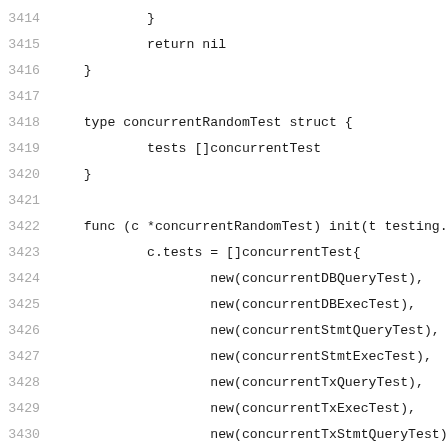3414    }
3415        return nil
3416    }
3417
3418    type concurrentRandomTest struct {
3419            tests []concurrentTest
3420    }
3421
3422    func (c *concurrentRandomTest) init(t testing.T
3423            c.tests = []concurrentTest{
3424                    new(concurrentDBQueryTest),
3425                    new(concurrentDBExecTest),
3426                    new(concurrentStmtQueryTest),
3427                    new(concurrentStmtExecTest),
3428                    new(concurrentTxQueryTest),
3429                    new(concurrentTxExecTest),
3430                    new(concurrentTxStmtQueryTest),
3431                    new(concurrentTxStmtExecTest),
3432            }
3433            for _, ct := range c.tests {
3434                    ct.init(t, db)